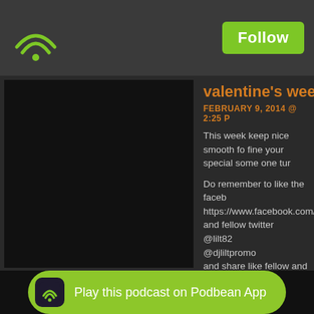[Figure (screenshot): App header bar with green wifi/podcast icon on left and Follow button on right]
[Figure (photo): Black square image panel (album art or podcast cover)]
valentine's wee
FEBRUARY 9, 2014 @ 2:25 P
This week keep nice smooth fo fine your special some one tur

Do remember to like the faceb https://www.facebook.com/DJl and fellow twitter
@lilt82
@djliltpromo
and share like fellow and subs on Itunes tunein radio app from

 99 Dj lilT join the ninja ryder events and co host top rating r on  www.sensimedia.net  in Th reggae mix show on the intern

Been pursuing a solo career li mixtapes on ges.com world c
[Figure (screenshot): Play this podcast on Podbean App button with app icon]